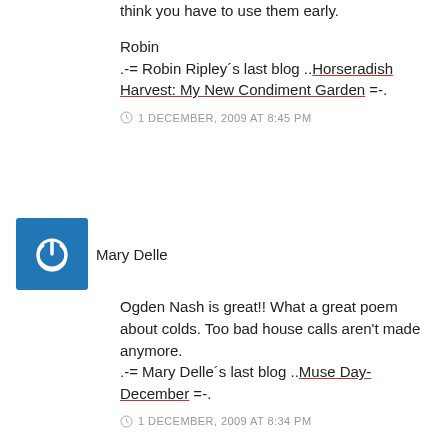think you have to use them early.
Robin
.-= Robin Ripley´s last blog ..Horseradish Harvest: My New Condiment Garden =-.
1 DECEMBER, 2009 AT 8:45 PM
[Figure (illustration): Blue square avatar with white power button icon]
Mary Delle
Ogden Nash is great!! What a great poem about colds. Too bad house calls aren't made anymore.
.-= Mary Delle´s last blog ..Muse Day-December =-.
1 DECEMBER, 2009 AT 8:34 PM